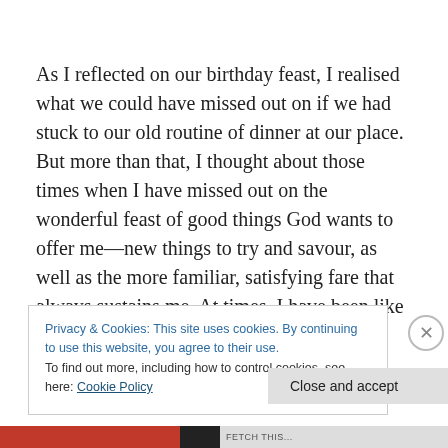As I reflected on our birthday feast, I realised what we could have missed out on if we had stuck to our old routine of dinner at our place. But more than that, I thought about those times when I have missed out on the wonderful feast of good things God wants to offer me—new things to try and savour, as well as the more familiar, satisfying fare that always sustains me. At times, I have been like God's people in the past who so often sadly
Privacy & Cookies: This site uses cookies. By continuing to use this website, you agree to their use.
To find out more, including how to control cookies, see here: Cookie Policy
Close and accept